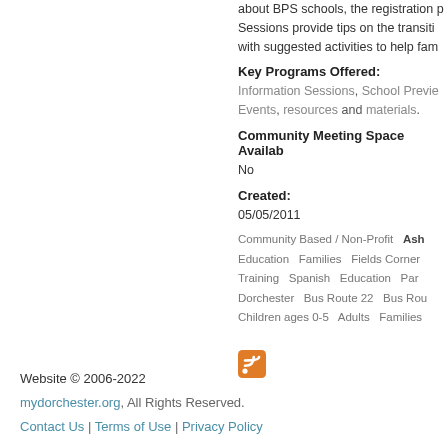about BPS schools, the registration … Sessions provide tips on the transiti… with suggested activities to help fam…
Key Programs Offered:
Information Sessions, School Previ… Events, resources and materials.
Community Meeting Space Availa…
No
Created:
05/05/2011
Community Based / Non-Profit   Ash… Education   Families   Fields Corner… Training   Spanish   Education   Par… Dorchester   Bus Route 22   Bus Rou… Children ages 0-5   Adults   Families…
[Figure (other): RSS feed icon (orange square with white wifi/rss symbol)]
Website © 2006-2022
mydorchester.org, All Rights Reserved.
Contact Us | Terms of Use | Privacy Policy